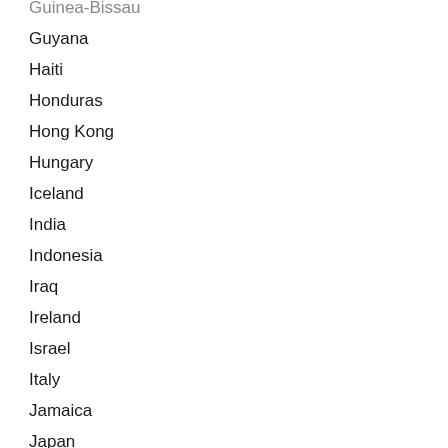Guinea-Bissau
Guyana
Haiti
Honduras
Hong Kong
Hungary
Iceland
India
Indonesia
Iraq
Ireland
Israel
Italy
Jamaica
Japan
Jordan
Kazakhstan
Kenya